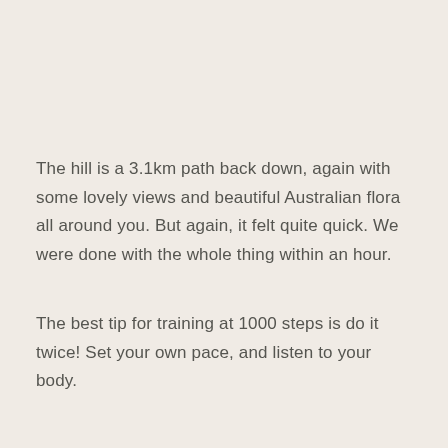The hill is a 3.1km path back down, again with some lovely views and beautiful Australian flora all around you. But again, it felt quite quick. We were done with the whole thing within an hour.
The best tip for training at 1000 steps is do it twice! Set your own pace, and listen to your body.